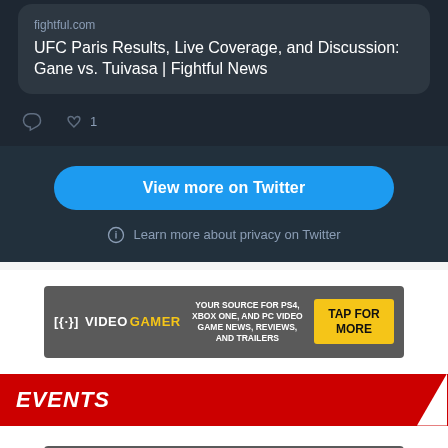[Figure (screenshot): Twitter/X embedded tweet showing fightful.com link card with article title 'UFC Paris Results, Live Coverage, and Discussion: Gane vs. Tuivasa | Fightful News', with comment and like (1) action icons below]
View more on Twitter
Learn more about privacy on Twitter
[Figure (infographic): VideoGamer advertisement banner: logo with controller icon, tagline 'YOUR SOURCE FOR PS4, XBOX ONE, AND PC VIDEO GAME NEWS, REVIEWS, AND TRAILERS', yellow 'TAP FOR MORE' call-to-action button]
EVENTS
[Figure (infographic): VideoGamer advertisement banner: logo with controller icon, tagline 'YOUR SOURCE FOR PS4, XBOX ONE, AND PC VIDEO GAME NEWS, REVIEWS, AND TRAILERS', yellow 'TAP FOR MORE' call-to-action button]
EXCLUSIVES